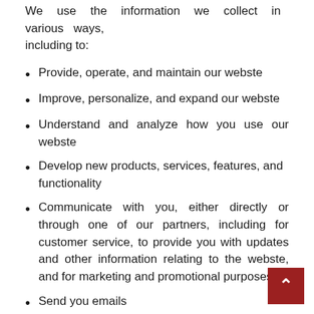We use the information we collect in various ways, including to:
Provide, operate, and maintain our webste
Improve, personalize, and expand our webste
Understand and analyze how you use our webste
Develop new products, services, features, and functionality
Communicate with you, either directly or through one of our partners, including for customer service, to provide you with updates and other information relating to the webste, and for marketing and promotional purposes
Send you emails
Find and prevent fraud